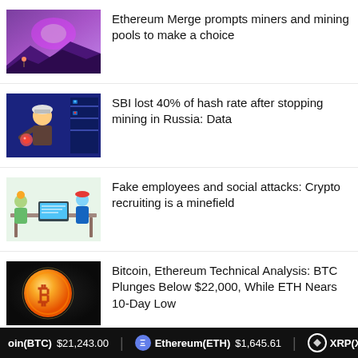[Figure (illustration): Ethereum Merge themed illustration with purple/pink mystical landscape and a small figure]
Ethereum Merge prompts miners and mining pools to make a choice
[Figure (illustration): Illustrated character wearing hard hat working at a desk with glowing red button]
SBI lost 40% of hash rate after stopping mining in Russia: Data
[Figure (illustration): Illustrated scene of people at a table, crypto recruiting illustration]
Fake employees and social attacks: Crypto recruiting is a minefield
[Figure (photo): Bitcoin gold coin on dark background]
Bitcoin, Ethereum Technical Analysis: BTC Plunges Below $22,000, While ETH Nears 10-Day Low
[Figure (illustration): Acala/depeg themed illustration with gold coin and colorful background]
Another depeg: Acala trace report reveals 3B USD...
Bitcoin(BTC) $21,243.00  Ethereum(ETH) $1,645.61  XRP(XRP)